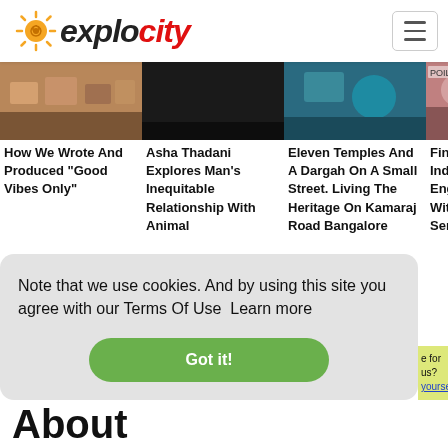explocity
[Figure (screenshot): Article thumbnail image 1 - market/shop items]
How We Wrote And Produced “Good Vibes Only”
[Figure (screenshot): Article thumbnail image 2 - dark background]
Asha Thadani Explores Man’s Inequitable Relationship With Animal
[Figure (screenshot): Article thumbnail image 3 - blue tones]
Eleven Temples And A Dargah On A Small Street. Living The Heritage On Kamaraj Road Bangalore
[Figure (screenshot): Article thumbnail image 4 - partial, clipped]
Finding [clipped] Indian V[clipped] English [clipped] With Poi[clipped] Sengupt[clipped]
Note that we use cookies. And by using this site you agree with our Terms Of Use  Learn more
Got it!
About